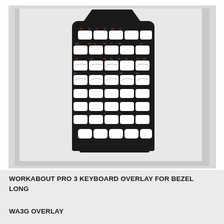[Figure (photo): Photograph of a Workabout Pro 3 keyboard overlay for bezel long — a black plastic panel with a grid of rectangular key cutouts arranged in multiple rows, with labeled function keys (M1-M10, F1-F10, DEL, etc.) visible at the top rows.]
WORKABOUT PRO 3 KEYBOARD OVERLAY FOR BEZEL LONG
WA3G OVERLAY